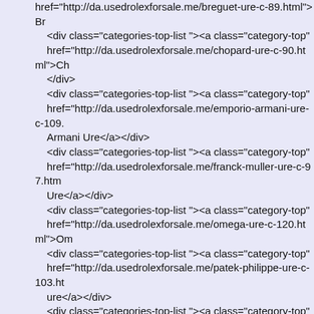href="http://da.usedrolexforsale.me/breguet-ure-c-89.html">Br...
<div class="categories-top-list "><a class="category-top" href="http://da.usedrolexforsale.me/chopard-ure-c-90.html">Ch...</div>
<div class="categories-top-list "><a class="category-top" href="http://da.usedrolexforsale.me/emporio-armani-ure-c-109.... Armani Ure</a></div>
<div class="categories-top-list "><a class="category-top" href="http://da.usedrolexforsale.me/franck-muller-ure-c-97.htm... Ure</a></div>
<div class="categories-top-list "><a class="category-top" href="http://da.usedrolexforsale.me/omega-ure-c-120.html">Om...
<div class="categories-top-list "><a class="category-top" href="http://da.usedrolexforsale.me/patek-philippe-ure-c-103.ht... ure</a></div>
<div class="categories-top-list "><a class="category-top" href="http://da.usedrolexforsale.me/rado-ure-c-77.html">Rado...
<div class="categories-top-list "><a class="category-top" href="http://da.usedrolexforsale.me/rolexure-c-119.html">Role...
<div class="categories-top-list "><a class="category-top" href="http://da.usedrolexforsale.me/tag-heuer-ure-c-38.html">T...</div>
<div class="categories-top-list "><a class="category-top" href="http://da.usedrolexforsale.me/uboat-ure-c-73.html">U-Bo...
<div class="categories-top-list "><a class="category-top" href="http://da.usedrolexforsale.me/...